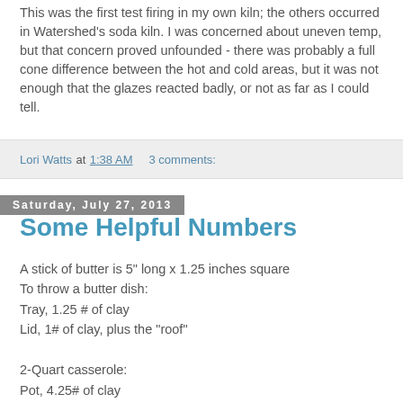This was the first test firing in my own kiln; the others occurred in Watershed's soda kiln. I was concerned about uneven temp, but that concern proved unfounded - there was probably a full cone difference between the hot and cold areas, but it was not enough that the glazes reacted badly, or not as far as I could tell.
Lori Watts at 1:38 AM    3 comments:
Saturday, July 27, 2013
Some Helpful Numbers
A stick of butter is 5" long x 1.25 inches square
To throw a butter dish:
Tray, 1.25 # of clay
Lid, 1# of clay, plus the "roof"

2-Quart casserole:
Pot, 4.25# of clay
Lid, 3.75# of clay